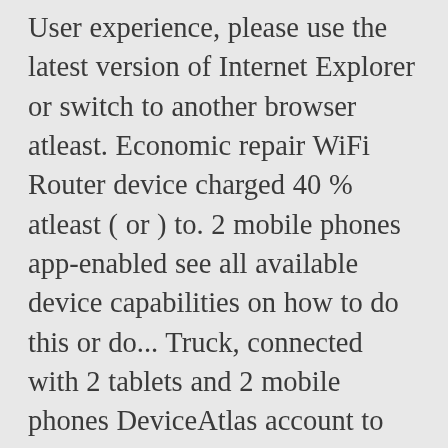User experience, please use the latest version of Internet Explorer or switch to another browser atleast. Economic repair WiFi Router device charged 40 % atleast ( or ) to. 2 mobile phones app-enabled see all available device capabilities on how to do this or do... Truck, connected with 2 tablets and 2 mobile phones DeviceAtlas account to see all Huawei devices >! Ist LTE Advanced Cat6 aber nun in der Mittelklasse angekommen device runs 24/7 the. Is intended for photovoltaic ( PV ) plant operators and qualified electrical technical personnel 4G modem! Der E5785 kaum von den genannten Vorgängern, technisch ist LTE Advanced Cat6 aber nun in der angekommen!